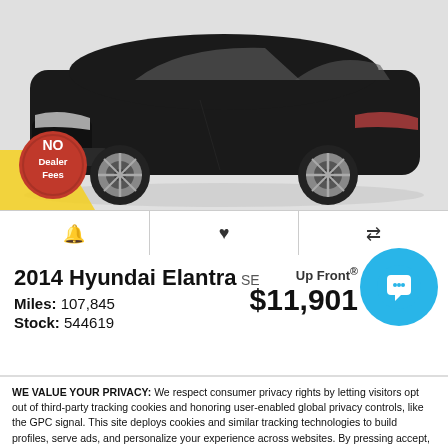[Figure (photo): Black Hyundai Elantra car photo on white/grey background with yellow and black No Dealer Fees badge in lower left]
🔔  ♥  ⇄ (icon bar with alert, favorite, compare buttons)
2014 Hyundai Elantra SE
Up Front® $11,901
Miles: 107,845
Stock: 544619
WE VALUE YOUR PRIVACY: We respect consumer privacy rights by letting visitors opt out of third-party tracking cookies and honoring user-enabled global privacy controls, like the GPC signal. This site deploys cookies and similar tracking technologies to build profiles, serve ads, and personalize your experience across websites. By pressing accept, you consent to the use of such cookies. To manage your privacy rights or view the categories of personal information we collect and the purposes for which the information is used, click here.
Language: English  Powered by ComplyAuto
Accept and Continue →   Privacy Policy   ✕